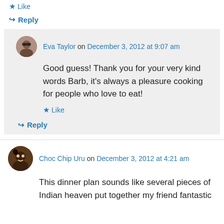★ Like
↪ Reply
Eva Taylor on December 3, 2012 at 9:07 am
Good guess! Thank you for your very kind words Barb, it's always a pleasure cooking for people who love to eat!
★ Like
↪ Reply
Choc Chip Uru on December 3, 2012 at 4:21 am
This dinner plan sounds like several pieces of Indian heaven put together my friend fantastic